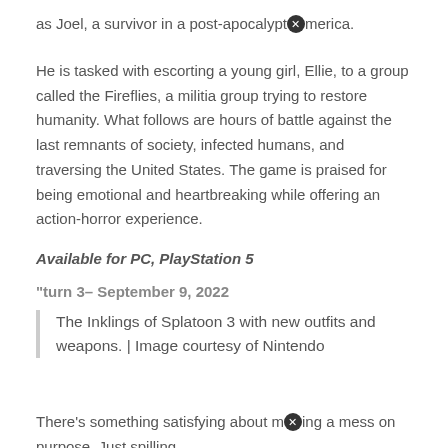as Joel, a survivor in a post-apocalyptic America.
He is tasked with escorting a young girl, Ellie, to a group called the Fireflies, a militia group trying to restore humanity. What follows are hours of battle against the last remnants of society, infected humans, and traversing the United States. The game is praised for being emotional and heartbreaking while offering an action-horror experience.
Available for PC, PlayStation 5
"turn 3– September 9, 2022
The Inklings of Splatoon 3 with new outfits and weapons. | Image courtesy of Nintendo
There's something satisfying about making a mess on purpose. Just spilling